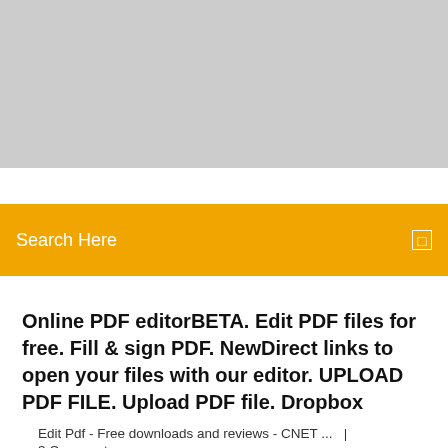[Figure (other): Gray banner/header area at top of page]
Online PDF editorBETA. Edit PDF files for free. Fill & sign PDF. NewDirect links to open your files with our editor. UPLOAD PDF FILE. Upload PDF file. Dropbox
Edit Pdf - Free downloads and reviews - CNET ...   |   3 Comments
Learn how to edit PDF files using Adobe Acrobat DC. Start with a free trial! there's a paper document or a PDF you need to edit but can't find the original file.